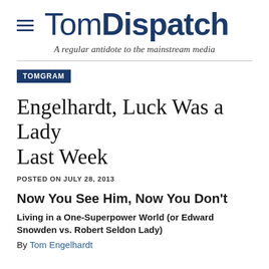TomDispatch — A regular antidote to the mainstream media
TOMGRAM
Engelhardt, Luck Was a Lady Last Week
POSTED ON JULY 28, 2013
Now You See Him, Now You Don't
Living in a One-Superpower World (or Edward Snowden vs. Robert Seldon Lady)
By Tom Engelhardt